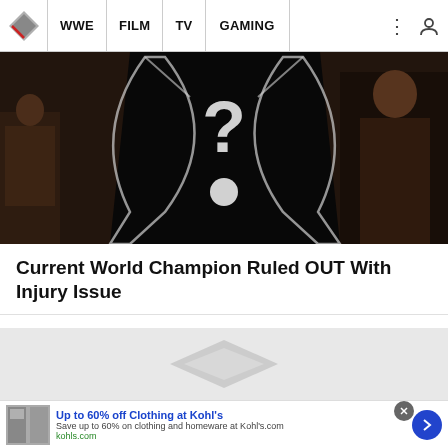WWE | FILM | TV | GAMING
[Figure (photo): Hero image showing a silhouetted figure with a question mark on their chest, surrounded by people in a dark venue]
Current World Champion Ruled OUT With Injury Issue
[Figure (logo): Ringside News placeholder logo — grey diamond shape on light grey background]
Up to 60% off Clothing at Kohl's
Save up to 60% on clothing and homeware at Kohl's.com
kohls.com